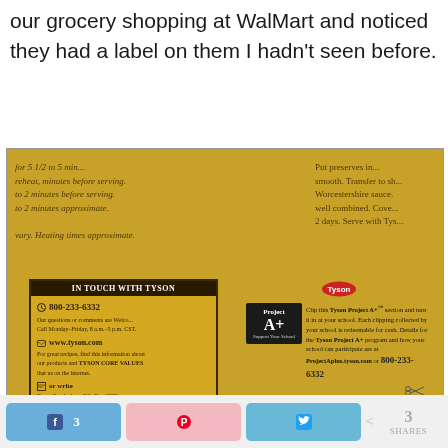our grocery shopping at WalMart and noticed they had a label on them I hadn't seen before.
[Figure (photo): Photo of a Tyson Foods chicken product package (gold/yellow packaging) showing the 'IN TOUCH WITH TYSON' label with phone number 800-233-6332, www.tyson.com, and a 'Project A+' coupon label. The package shows cooking instructions and contact information. A red product is partially visible at the bottom.]
3   [share buttons: Facebook 3, Pinterest, Twitter]   < 3 SHARES